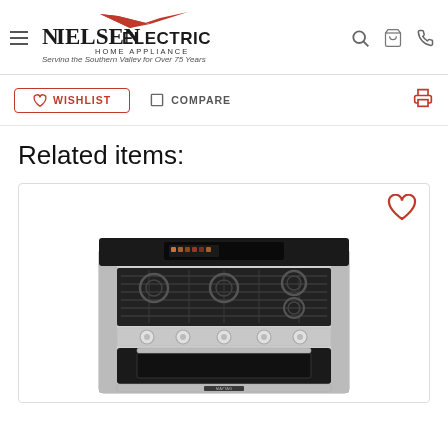Nielsen Electric Home Appliance — Serving the Southern Valley for Over 75 Years
WISHLIST
COMPARE
Related items:
[Figure (photo): Stainless steel freestanding gas range with 5 burners, digital control panel, and large oven window, displayed on white background. A red heart/wishlist icon is shown in the top-right corner of the product card.]